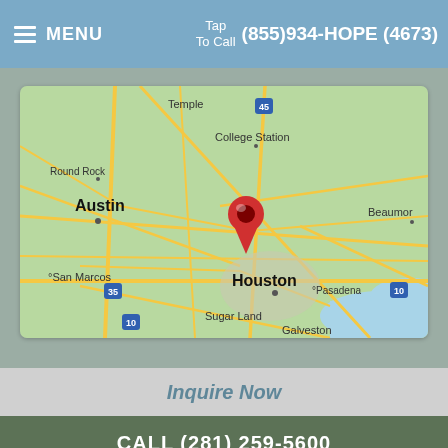MENU  Tap To Call  (855)934-HOPE (4673)
[Figure (map): Google Maps screenshot showing the Greater Houston, Texas area with cities including Temple, College Station, Round Rock, Austin, San Marcos, Houston, Pasadena, Sugar Land, Galveston, and Beaumont. A red location pin marker is placed north of Houston.]
Inquire Now
CALL (281) 259-5600
Hope Counseling (Outpatient)